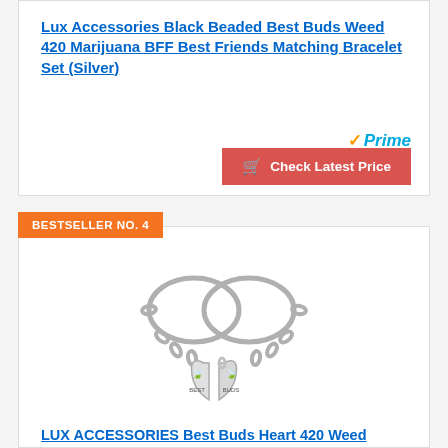Lux Accessories Black Beaded Best Buds Weed 420 Marijuana BFF Best Friends Matching Bracelet Set (Silver)
[Figure (other): Amazon Prime badge with orange checkmark and blue italic Prime text]
Check Latest Price
BESTSELLER NO. 4
[Figure (photo): Two silver chain bracelets with broken heart pendants showing marijuana leaf, labeled BEST and BUDS]
LUX ACCESSORIES Best Buds Heart 420 Weed